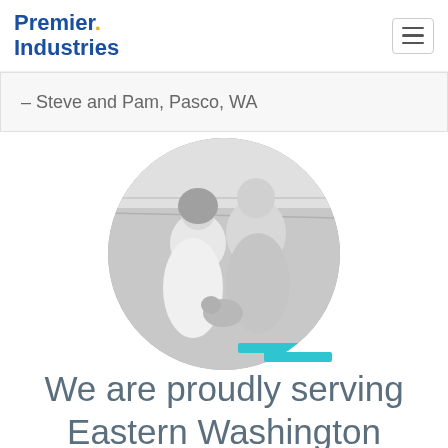Premier Industries
– Steve and Pam, Pasco, WA
[Figure (photo): Circular black-and-white photo of a smiling couple outdoors in a field, with a small dog. A teal accent bar appears at the bottom edge of the circle.]
We are proudly serving Eastern Washington and the surrounding